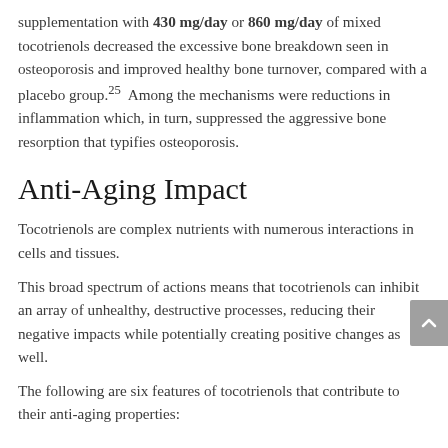supplementation with 430 mg/day or 860 mg/day of mixed tocotrienols decreased the excessive bone breakdown seen in osteoporosis and improved healthy bone turnover, compared with a placebo group.25 Among the mechanisms were reductions in inflammation which, in turn, suppressed the aggressive bone resorption that typifies osteoporosis.
Anti-Aging Impact
Tocotrienols are complex nutrients with numerous interactions in cells and tissues.
This broad spectrum of actions means that tocotrienols can inhibit an array of unhealthy, destructive processes, reducing their negative impacts while potentially creating positive changes as well.
The following are six features of tocotrienols that contribute to their anti-aging properties: